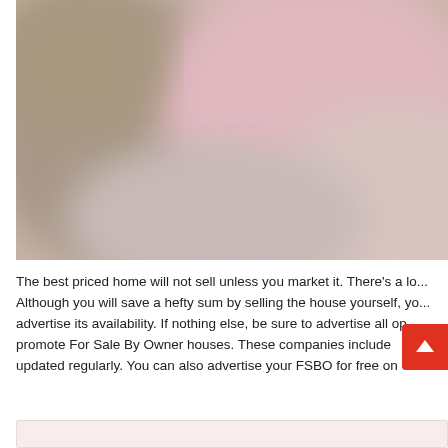[Figure (photo): A blurred/out-of-focus photograph showing soft warm and pink tones, likely an interior or floral subject. The image is cropped at the top and right edges.]
The best priced home will not sell unless you market it. There's a lo... Although you will save a hefty sum by selling the house yourself, yo... advertise its availability. If nothing else, be sure to advertise all op... promote For Sale By Owner houses. These companies include... r updated regularly. You can also advertise your FSBO for free on Cr...